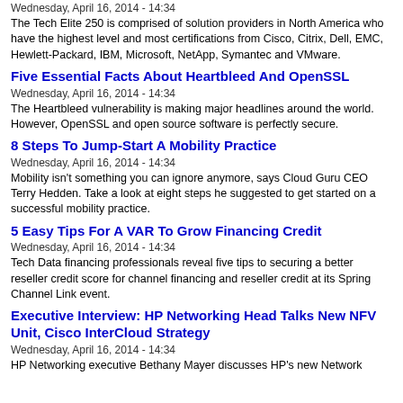Wednesday, April 16, 2014 - 14:34
The Tech Elite 250 is comprised of solution providers in North America who have the highest level and most certifications from Cisco, Citrix, Dell, EMC, Hewlett-Packard, IBM, Microsoft, NetApp, Symantec and VMware.
Five Essential Facts About Heartbleed And OpenSSL
Wednesday, April 16, 2014 - 14:34
The Heartbleed vulnerability is making major headlines around the world. However, OpenSSL and open source software is perfectly secure.
8 Steps To Jump-Start A Mobility Practice
Wednesday, April 16, 2014 - 14:34
Mobility isn't something you can ignore anymore, says Cloud Guru CEO Terry Hedden. Take a look at eight steps he suggested to get started on a successful mobility practice.
5 Easy Tips For A VAR To Grow Financing Credit
Wednesday, April 16, 2014 - 14:34
Tech Data financing professionals reveal five tips to securing a better reseller credit score for channel financing and reseller credit at its Spring Channel Link event.
Executive Interview: HP Networking Head Talks New NFV Unit, Cisco InterCloud Strategy
Wednesday, April 16, 2014 - 14:34
HP Networking executive Bethany Mayer discusses HP's new Network